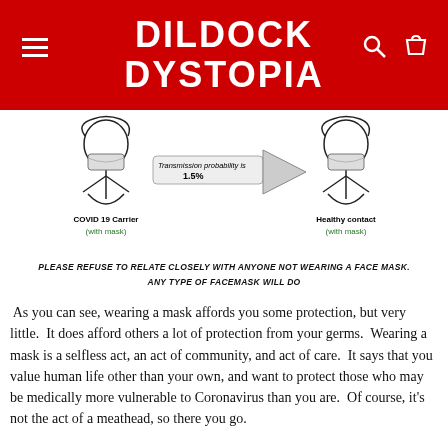DILDOCK DYSTOPIA
[Figure (infographic): Two illustrated figures wearing face masks. Left figure labeled 'COVID 19 Carrier (with mask)', right figure labeled 'Healthy contact (with mask)'. An arrow between them reads 'Transmission probability is 1.5%'.]
PLEASE REFUSE TO RELATE CLOSELY WITH ANYONE NOT WEARING A FACE MASK.
ANY TYPE OF FACEMASK WILL DO
As you can see, wearing a mask affords you some protection, but very little.  It does afford others a lot of protection from your germs.  Wearing a mask is a selfless act, an act of community, and act of care.  It says that you value human life other than your own, and want to protect those who may be medically more vulnerable to Coronavirus than you are.  Of course, it's not the act of a meathead, so there you go.
All of this shit makes being a single woman kind of hard, you